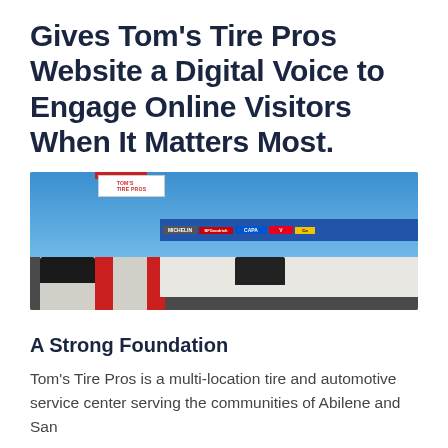Gives Tom’s Tire Pros Website a Digital Voice to Engage Online Visitors When It Matters Most.
[Figure (photo): Exterior photo of a Tom's Tire Pros automotive service center with a distinctive red arch entrance, white/grey commercial building, service bays visible on the right side with brand signage (Michelin, BFGoodrich, Capri, Valvoline, Continental), blue sky background, vehicles parked in front.]
A Strong Foundation
Tom’s Tire Pros is a multi-location tire and automotive service center serving the communities of Abilene and San